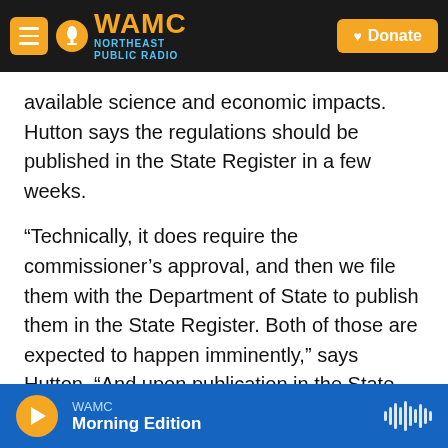WAMC Northeast Public Radio — Donate
available science and economic impacts. Hutton says the regulations should be published in the State Register in a few weeks.
“Technically, it does require the commissioner’s approval, and then we file them with the Department of State to publish them in the State Register. Both of those are expected to happen imminently,” says Hutton. “And upon publication in the State Register, then the 60-day, 90-day and six-month time clocks will start for the time it takes before systems need to begin monitoring.”
WAMC — Morning Edition